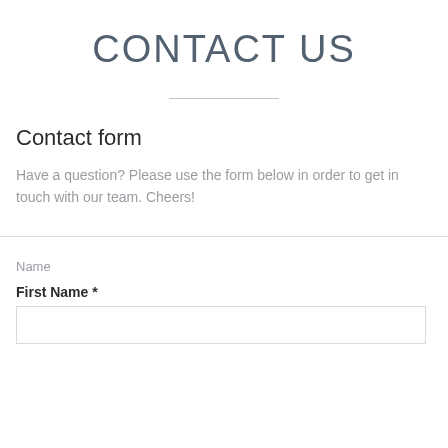CONTACT US
Contact form
Have a question? Please use the form below in order to get in touch with our team. Cheers!
Name
First Name *